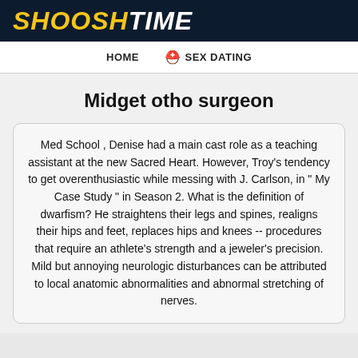SHOOSHTIME
HOME   SEX DATING
Midget otho surgeon
Med School , Denise had a main cast role as a teaching assistant at the new Sacred Heart. However, Troy's tendency to get overenthusiastic while messing with J. Carlson, in " My Case Study " in Season 2. What is the definition of dwarfism? He straightens their legs and spines, realigns their hips and feet, replaces hips and knees -- procedures that require an athlete's strength and a jeweler's precision. Mild but annoying neurologic disturbances can be attributed to local anatomic abnormalities and abnormal stretching of nerves.